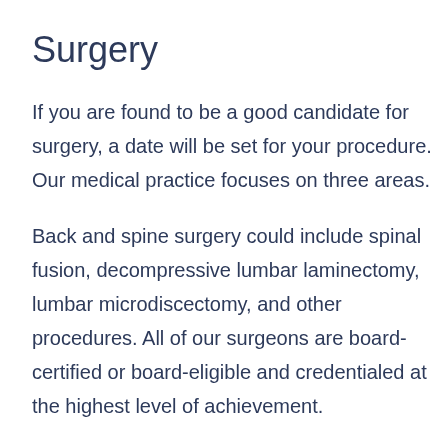Surgery
If you are found to be a good candidate for surgery, a date will be set for your procedure. Our medical practice focuses on three areas.
Back and spine surgery could include spinal fusion, decompressive lumbar laminectomy, lumbar microdiscectomy, and other procedures. All of our surgeons are board-certified or board-eligible and credentialed at the highest level of achievement.
Some of our surgeons specialize in neck